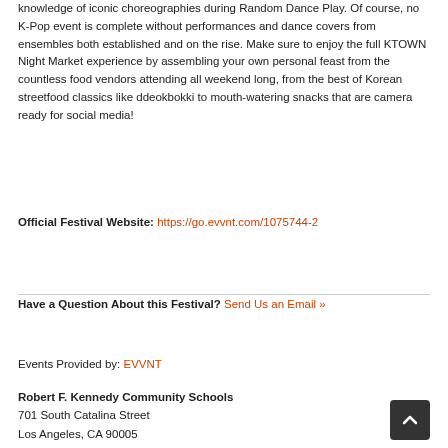knowledge of iconic choreographies during Random Dance Play. Of course, no K-Pop event is complete without performances and dance covers from ensembles both established and on the rise. Make sure to enjoy the full KTOWN Night Market experience by assembling your own personal feast from the countless food vendors attending all weekend long, from the best of Korean streetfood classics like ddeokbokki to mouth-watering snacks that are camera ready for social media!
Official Festival Website: https://go.evvnt.com/1075744-2
Have a Question About this Festival? Send Us an Email »
Events Provided by: EVVNT
Robert F. Kennedy Community Schools
701 South Catalina Street
Los Angeles, CA 90005
United States